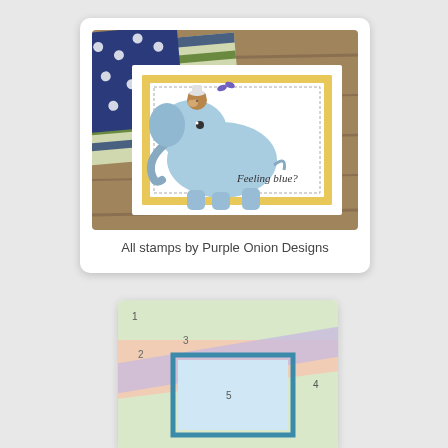[Figure (photo): A handmade greeting card featuring a blue elephant with a monkey on its head, with text 'Feeling blue?' inside a yellow-bordered white card, placed on a wooden surface with striped and polka dot decorative papers in the background.]
All stamps by Purple Onion Designs
[Figure (schematic): A card layout diagram showing numbered sections (1-5) with diagonal striped layers in light green, peach/salmon, and lavender colors, and a teal-bordered light blue rectangle in the center labeled 5.]